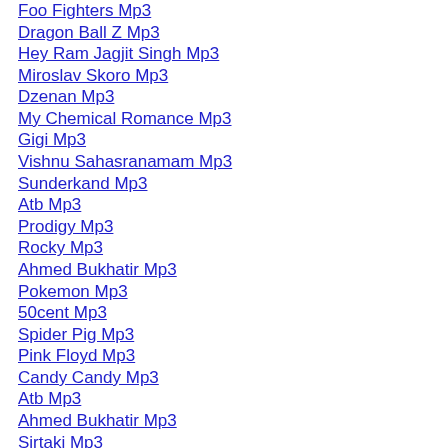Foo Fighters Mp3
Dragon Ball Z Mp3
Hey Ram Jagjit Singh Mp3
Miroslav Skoro Mp3
Dzenan Mp3
My Chemical Romance Mp3
Gigi Mp3
Vishnu Sahasranamam Mp3
Sunderkand Mp3
Atb Mp3
Prodigy Mp3
Rocky Mp3
Ahmed Bukhatir Mp3
Pokemon Mp3
50cent Mp3
Spider Pig Mp3
Pink Floyd Mp3
Candy Candy Mp3
Atb Mp3
Ahmed Bukhatir Mp3
Sirtaki Mp3
Push It To The Limit Mp3
Berlin Take My Breath Away Mp3
Sinan Sakic Mp3
Super Junior Mp3